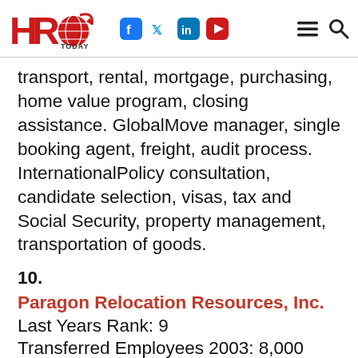HRO Today
transport, rental, mortgage, purchasing, home value program, closing assistance. GlobalMove manager, single booking agent, freight, audit process. InternationalPolicy consultation, candidate selection, visas, tax and Social Security, property management, transportation of goods.
10.
Paragon Relocation Resources, Inc.
Last Years Rank: 9
Transferred Employees 2003: 8,000